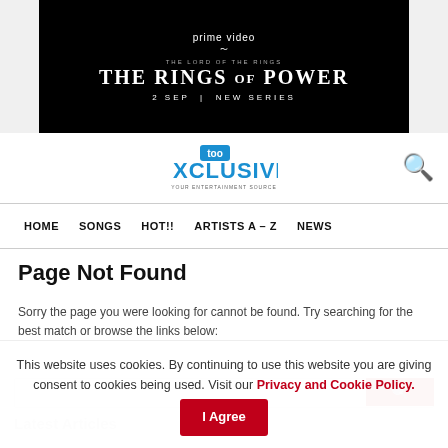[Figure (screenshot): Amazon Prime Video advertisement banner for 'The Lord of the Rings: The Rings of Power' – black background with white text, date '2 SEP | NEW SERIES']
[Figure (logo): TooXclusive website logo – blue and white text logo]
HOME   SONGS   HOT!!   ARTISTS A – Z   NEWS
Page Not Found
Sorry the page you were looking for cannot be found. Try searching for the best match or browse the links below:
This website uses cookies. By continuing to use this website you are giving consent to cookies being used. Visit our Privacy and Cookie Policy.
I Agree
Latest Articles